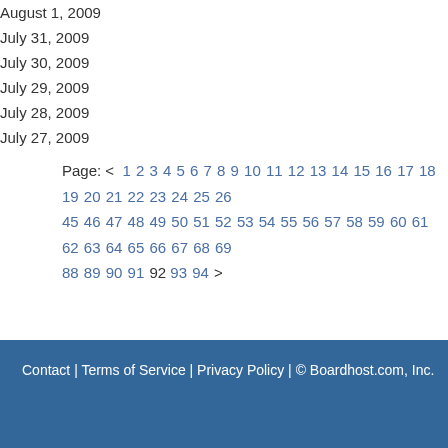August 1, 2009
July 31, 2009
July 30, 2009
July 29, 2009
July 28, 2009
July 27, 2009
Page: < 1 2 3 4 5 6 7 8 9 10 11 12 13 14 15 16 17 18 19 20 21 22 23 24 25 26 ... 45 46 47 48 49 50 51 52 53 54 55 56 57 58 59 60 61 62 63 64 65 66 67 68 69 7... 88 89 90 91 92 93 94 >
Contact | Terms of Service | Privacy Policy | © Boardhost.com, Inc.  Th...